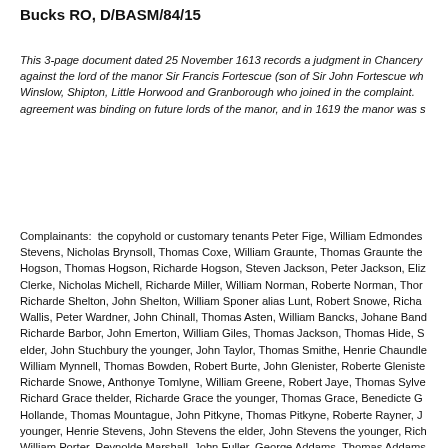Bucks RO, D/BASM/84/15
This 3-page document dated 25 November 1613 records a judgment in Chancery against the lord of the manor Sir Francis Fortescue (son of Sir John Fortescue who Winslow, Shipton, Little Horwood and Granborough who joined in the complaint. The agreement was binding on future lords of the manor, and in 1619 the manor was s
Complainants: the copyhold or customary tenants Peter Fige, William Edmondes, Stevens, Nicholas Brynsoll, Thomas Coxe, William Graunte, Thomas Graunte the Hogson, Thomas Hogson, Richarde Hogson, Steven Jackson, Peter Jackson, Eliza Clerke, Nicholas Michell, Richarde Miller, William Norman, Roberte Norman, Thor Richarde Shelton, John Shelton, William Sponer alias Lunt, Robert Snowe, Richar Wallis, Peter Wardner, John Chinall, Thomas Asten, William Bancks, Johane Band Richarde Barbor, John Emerton, William Giles, Thomas Jackson, Thomas Hide, S elder, John Stuchbury the younger, John Taylor, Thomas Smithe, Henrie Chaundle William Mynnell, Thomas Bowden, Robert Burte, John Glenister, Roberte Gleniste Richarde Snowe, Anthonye Tomlyne, William Greene, Robert Jaye, Thomas Sylve Richard Grace thelder, Richarde Grace the younger, Thomas Grace, Benedicte G Hollande, Thomas Mountague, John Pitkyne, Thomas Pitkyne, Roberte Rayner, J younger, Henrie Stevens, John Stevens the elder, John Stevens the younger, Rich William Porter, Reynolde Marshall, John Fuller, George Addams, Thomas Addams Richard Cowper, Henrie Fennell, William Hobbos, John Hawkyns, Roberte Hawk